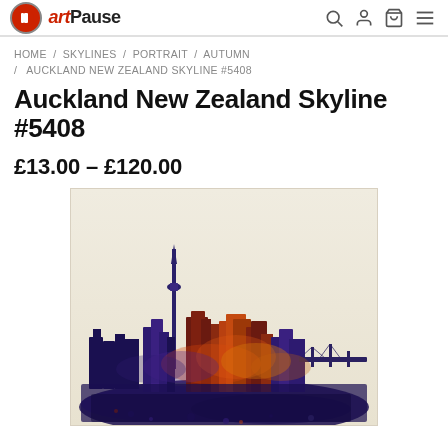artPause
HOME / SKYLINES / PORTRAIT / AUTUMN / AUCKLAND NEW ZEALAND SKYLINE #5408
Auckland New Zealand Skyline #5408
£13.00 – £120.00
[Figure (illustration): Watercolour-style illustration of the Auckland New Zealand skyline in autumn colours (deep red, purple, blue, orange, gold) on a cream/beige background, showing the Sky Tower and surrounding city buildings with a bridge on the right side.]